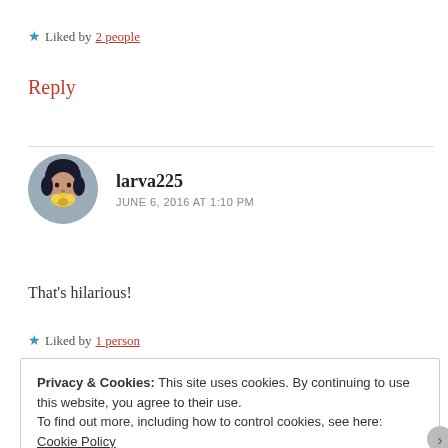★ Liked by 2 people
Reply
larva225
JUNE 6, 2016 AT 1:10 PM
That's hilarious!
★ Liked by 1 person
Privacy & Cookies: This site uses cookies. By continuing to use this website, you agree to their use.
To find out more, including how to control cookies, see here: Cookie Policy
Close and accept